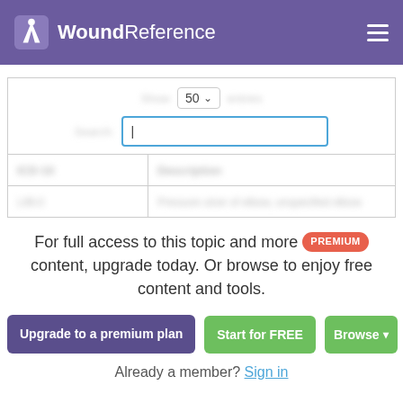WoundReference
[Figure (screenshot): Blurred table interface with a dropdown showing '50' and a search text input field with a cursor, followed by a partially visible table with blurred column headers and one blurred data row.]
For full access to this topic and more PREMIUM content, upgrade today. Or browse to enjoy free content and tools.
Upgrade to a premium plan
Start for FREE
Browse
Already a member? Sign in